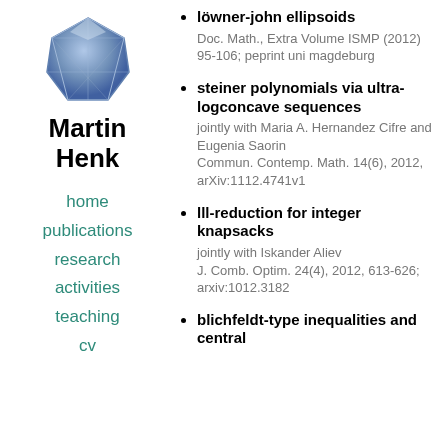[Figure (illustration): Blue geometric gem/polyhedron logo]
Martin Henk
home
publications
research
activities
teaching
cv
löwner-john ellipsoids
Doc. Math., Extra Volume ISMP (2012) 95-106; peprint uni magdeburg
steiner polynomials via ultra-logconcave sequences
jointly with Maria A. Hernandez Cifre and Eugenia Saorin
Commun. Contemp. Math. 14(6), 2012, arXiv:1112.4741v1
lll-reduction for integer knapsacks
jointly with Iskander Aliev
J. Comb. Optim. 24(4), 2012, 613-626; arxiv:1012.3182
blichfeldt-type inequalities and central